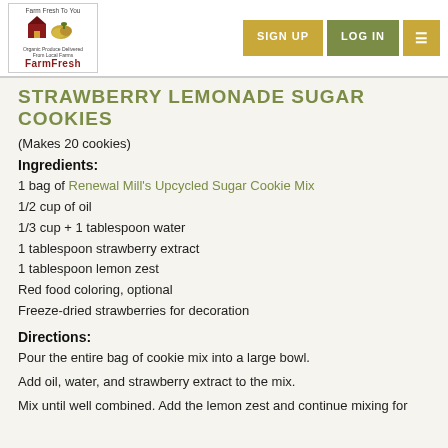Farm Fresh To You | SIGN UP | LOG IN | Menu
STRAWBERRY LEMONADE SUGAR COOKIES
(Makes 20 cookies)
Ingredients:
1 bag of Renewal Mill's Upcycled Sugar Cookie Mix
1/2 cup of oil
1/3 cup + 1 tablespoon water
1 tablespoon strawberry extract
1 tablespoon lemon zest
Red food coloring, optional
Freeze-dried strawberries for decoration
Directions:
Pour the entire bag of cookie mix into a large bowl.
Add oil, water, and strawberry extract to the mix.
Mix until well combined. Add the lemon zest and continue mixing for